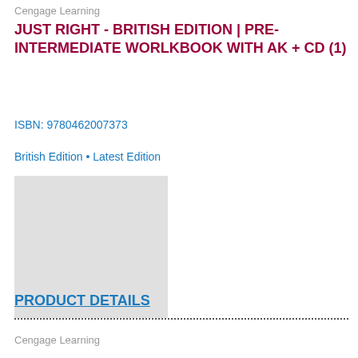Cengage Learning
JUST RIGHT - BRITISH EDITION | PRE-INTERMEDIATE WORLKBOOK WITH AK + CD (1)
ISBN: 9780462007373
British Edition • Latest Edition
[Figure (photo): Book cover image placeholder — light gray rectangle]
PRODUCT DETAILS
Cengage Learning